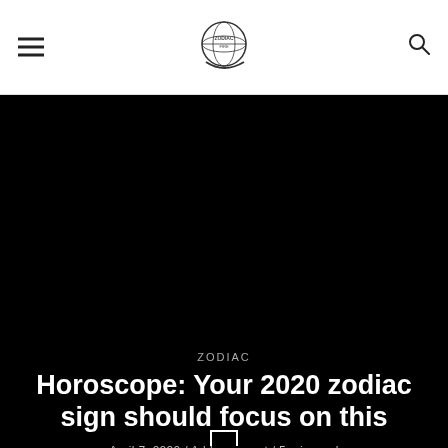ZODIAC FIRE (logo)
[Figure (photo): Dark/black background hero image area]
ZODIAC
Horoscope: Your 2020 zodiac sign should focus on this
April 7, 2020 / Add comment / 5 min read